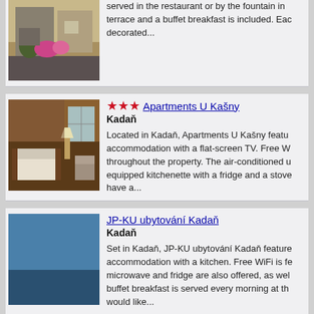[Figure (photo): Partial hotel exterior photo showing building facade with flowers, partially visible at top of page]
served in the restaurant or by the fountain in terrace and a buffet breakfast is included. Eac decorated...
[Figure (photo): Interior hotel room photo showing a bed with white linens, lamp, brick wall background]
★★★ Apartments U Kašny
Kadaň
Located in Kadaň, Apartments U Kašny featu accommodation with a flat-screen TV. Free W throughout the property. The air-conditioned u equipped kitchenette with a fridge and a stove have a...
[Figure (photo): Blue sky exterior or building photo, mostly solid blue]
JP-KU ubytování Kadaň
Kadaň
Set in Kadaň, JP-KU ubytování Kadaň feature accommodation with a kitchen. Free WiFi is fe microwave and fridge are also offered, as wel buffet breakfast is served every morning at th would like...
[Figure (photo): Exterior photo of a building with reddish facade against blue sky]
★★★★ Penzion Mova
Kadaň